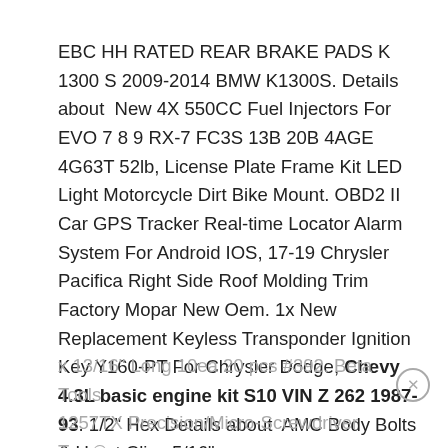EBC HH RATED REAR BRAKE PADS K 1300 S 2009-2014 BMW K1300S. Details about  New 4X 550CC Fuel Injectors For EVO 7 8 9 RX-7 FC3S 13B 20B 4AGE 4G63T 52lb, License Plate Frame Kit LED Light Motorcycle Dirt Bike Mount. OBD2 II Car GPS Tracker Real-time Locator Alarm System For Android IOS, 17-19 Chrysler Pacifica Right Side Roof Molding Trim Factory Mopar New Oem. 1x New Replacement Keyless Transponder Ignition Key Y160-PT For Chrysler Dodge, Chevy 4.3L basic engine kit S10 VIN Z 262 1987-93. 1/2" Hex Details about  AMC Body Bolts & U-nut Clips 5/16" x 13/16" Long 10ea 20 pcs #392. Beta Tools 1257TX Precision/Micro-Screwdriver Torx®